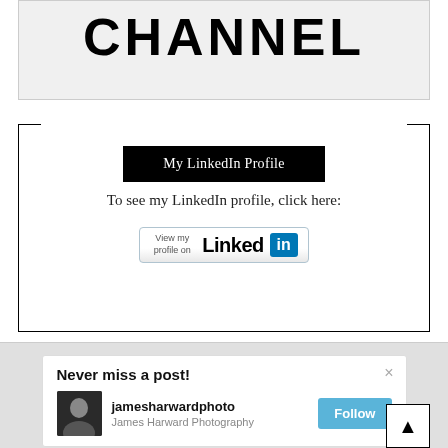[Figure (screenshot): YouTube channel banner showing the word CHANNEL in large bold black letters on a light gray background]
My LinkedIn Profile
To see my LinkedIn profile, click here:
[Figure (logo): LinkedIn badge button showing 'View my profile on Linked in' with the LinkedIn blue 'in' logo]
[Figure (screenshot): Social media follow widget showing 'Never miss a post!' with profile for jamesharwardphoto / James Harward Photography and a Follow button]
Never miss a post!
jamesharwardphoto
James Harward Photography